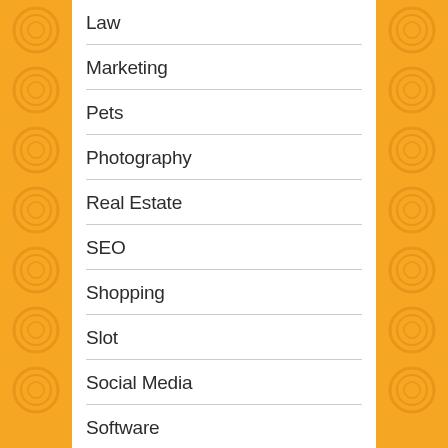Law
Marketing
Pets
Photography
Real Estate
SEO
Shopping
Slot
Social Media
Software